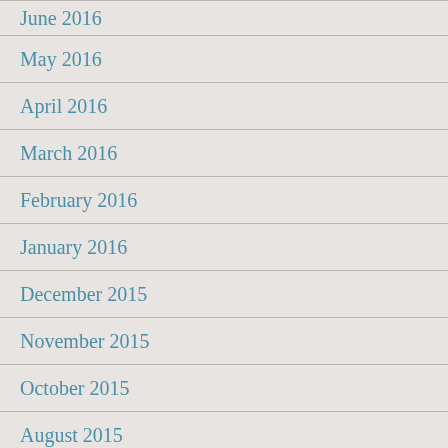June 2016
May 2016
April 2016
March 2016
February 2016
January 2016
December 2015
November 2015
October 2015
August 2015